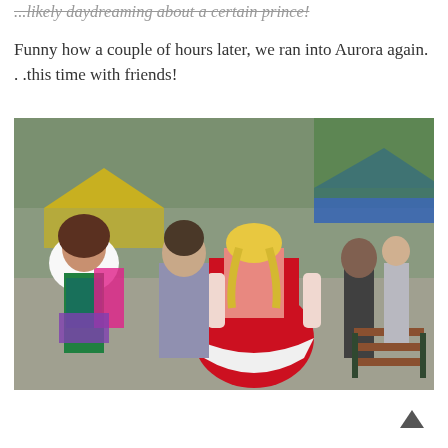...likely daydreaming about a certain prince!
Funny how a couple of hours later, we ran into Aurora again. . .this time with friends!
[Figure (photo): A scene at what appears to be a Disney theme park. A woman dressed as Princess Aurora (Sleeping Beauty) in a red dress with white accents and blonde updo hair is seen from behind, interacting with park visitors. Nearby are women in colorful costumes including one with a green corset and purple hip scarf. Green and blue market tents are visible in the background along with a park bench.]